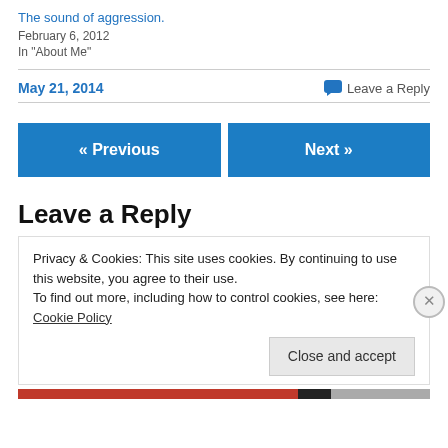The sound of aggression.
February 6, 2012
In "About Me"
May 21, 2014
Leave a Reply
« Previous
Next »
Leave a Reply
Privacy & Cookies: This site uses cookies. By continuing to use this website, you agree to their use.
To find out more, including how to control cookies, see here: Cookie Policy
Close and accept